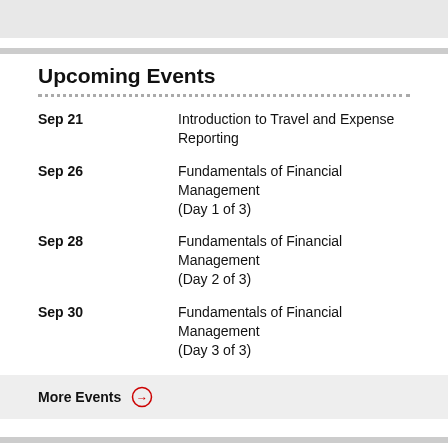Upcoming Events
Sep 21 — Introduction to Travel and Expense Reporting
Sep 26 — Fundamentals of Financial Management (Day 1 of 3)
Sep 28 — Fundamentals of Financial Management (Day 2 of 3)
Sep 30 — Fundamentals of Financial Management (Day 3 of 3)
More Events →
Latest News
Closing out the year: An MIT-wide collaboration ›